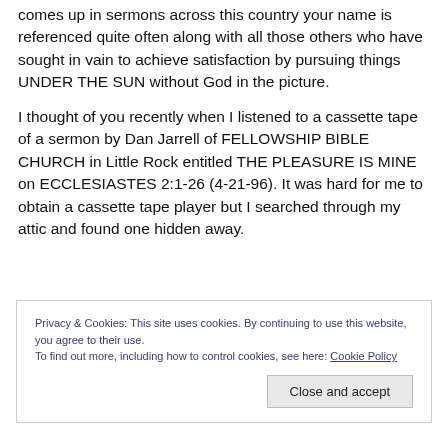comes up in sermons across this country your name is referenced quite often along with all those others who have sought in vain to achieve satisfaction by pursuing things UNDER THE SUN without God in the picture.
I thought of you recently when I listened to a cassette tape of a sermon by Dan Jarrell of FELLOWSHIP BIBLE CHURCH in Little Rock entitled THE PLEASURE IS MINE on ECCLESIASTES 2:1-26 (4-21-96). It was hard for me to obtain a cassette tape player but I searched through my attic and found one hidden away.
Privacy & Cookies: This site uses cookies. By continuing to use this website, you agree to their use.
To find out more, including how to control cookies, see here: Cookie Policy